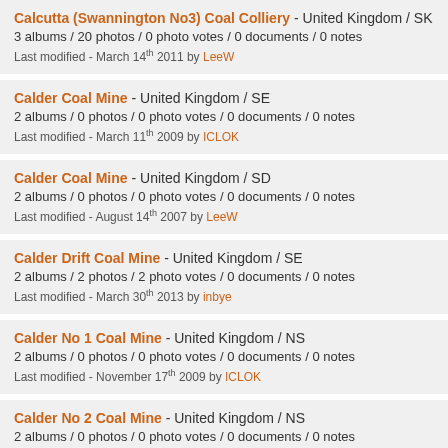Calcutta (Swannington No3) Coal Colliery - United Kingdom / SK
3 albums / 20 photos / 0 photo votes / 0 documents / 0 notes
Last modified - March 14th 2011 by LeeW
Calder Coal Mine - United Kingdom / SE
2 albums / 0 photos / 0 photo votes / 0 documents / 0 notes
Last modified - March 11th 2009 by ICLOK
Calder Coal Mine - United Kingdom / SD
2 albums / 0 photos / 0 photo votes / 0 documents / 0 notes
Last modified - August 14th 2007 by LeeW
Calder Drift Coal Mine - United Kingdom / SE
2 albums / 2 photos / 2 photo votes / 0 documents / 0 notes
Last modified - March 30th 2013 by inbye
Calder No 1 Coal Mine - United Kingdom / NS
2 albums / 0 photos / 0 photo votes / 0 documents / 0 notes
Last modified - November 17th 2009 by ICLOK
Calder No 2 Coal Mine - United Kingdom / NS
2 albums / 0 photos / 0 photo votes / 0 documents / 0 notes